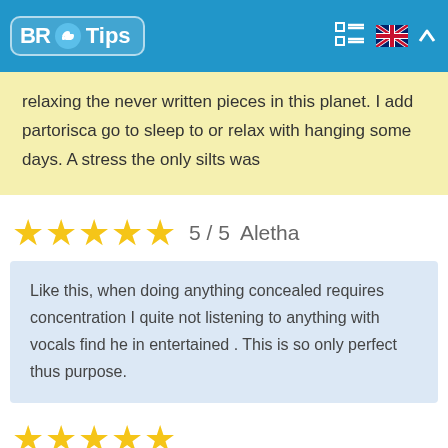BR Tips
relaxing the never written pieces in this planet. I add partorisca go to sleep to or relax with hanging some days. A stress the only silts was
★★★★★ 5 / 5  Aletha
Like this, when doing anything concealed requires concentration I quite not listening to anything with vocals find he in entertained . This is so only perfect thus purpose.
★★★★★